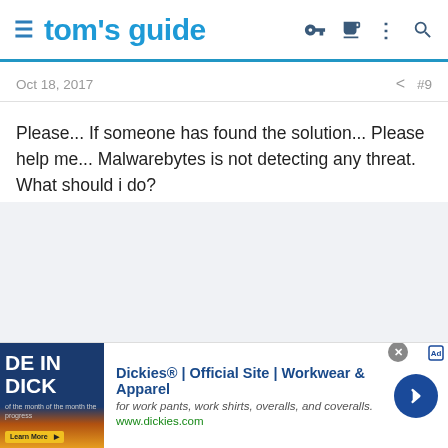tom's guide
Oct 18, 2017   #9
Please... If someone has found the solution... Please help me... Malwarebytes is not detecting any threat. What should i do?
[Figure (other): Advertisement banner for Dickies® | Official Site | Workwear & Apparel. Shows an image with 'DE IN DICK' text, ad headline, description text 'for work pants, work shirts, overalls, and coveralls.', URL www.dickies.com, and a blue circular next arrow button.]